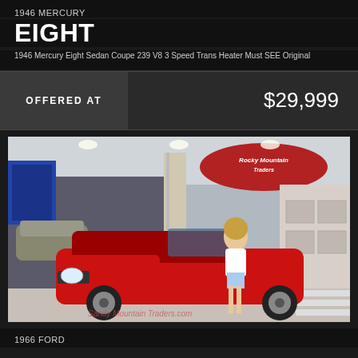1946 MERCURY
EIGHT
1946 Mercury Eight Sedan Coupe 239 V8 3 Speed Trans Heater Must SEE Original
OFFERED AT
$29,999
[Figure (photo): Red classic Ford Mustang convertible in a showroom/garage setting with Rocky Mountain Traders signage. A woman in white top and denim shorts stands next to the car. Multiple classic cars visible in background. Watermark reads 'Sandy Mountain Traders.com'.]
1966 FORD